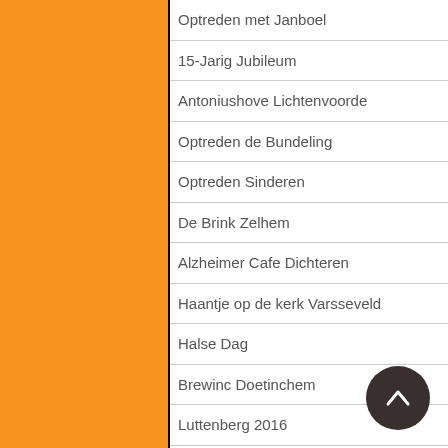Optreden met Janboel
15-Jarig Jubileum
Antoniushove Lichtenvoorde
Optreden de Bundeling
Optreden Sinderen
De Brink Zelhem
Alzheimer Cafe Dichteren
Haantje op de kerk Varsseveld
Halse Dag
Brewinc Doetinchem
Luttenberg 2016
Uniek Muziekspektakel
Annerle